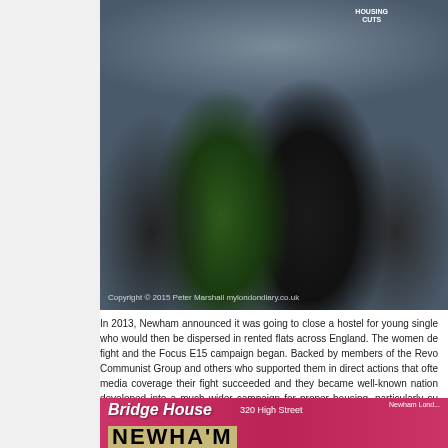[Figure (photo): Protest crowd photo showing people marching, some holding signs including one reading 'HOUSING CUTS'. People wearing t-shirts with activist slogans. Copyright 2015 Peter Marshall mylondondiary.co.uk watermark at bottom.]
In 2013, Newham announced it was going to close a hostel for young single who would then be dispersed in rented flats across England. The women de fight and the Focus E15 campaign began. Backed by members of the Revo Communist Group and others who supported them in direct actions that ofte media coverage their fight succeeded and they became well-known nation developed into a much wider campaign for proper housing, particularly su others in the area with housing problems. As well as holding a street st centre of Stratford every Saturday they accompanied people to the housin gathered to prevent evictions and more.
[Figure (photo): Bottom of page photo showing Bridge House 320 High Street banner with Newham London branding in pink/magenta, and large NEWHAM letters visible.]